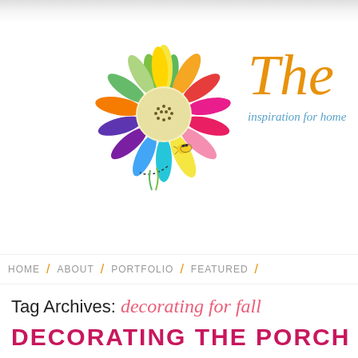[Figure (logo): Colorful rainbow sunflower logo with a bee, and cursive text 'The' in orange with tagline 'inspiration for home' in blue italic]
HOME / ABOUT / PORTFOLIO / FEATURED /
Tag Archives: decorating for fall
DECORATING THE PORCH